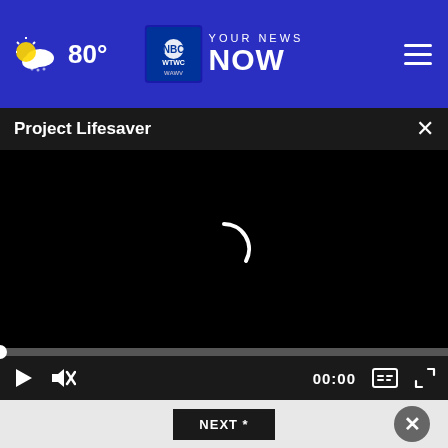80° | YOUR NEWS NOW | WTWC WAWV NBC2
Project Lifesaver
[Figure (screenshot): Black video player area with loading spinner arc in center]
00:00
NEXT *
* By clicking submit, you agree to our Privacy Policy and you are ready to receive e-mails.
[Figure (infographic): Lottery advertisement banner: Enter for a chance to win Scratch-offs. ENTER NOW button.]